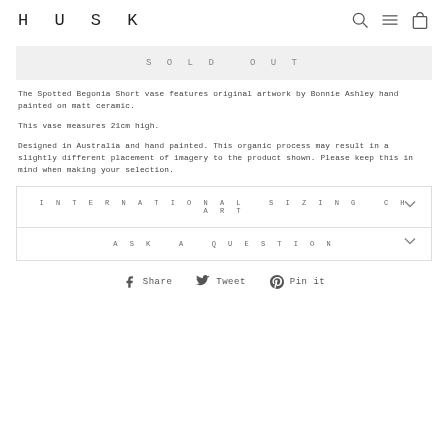HUSK
SOLD OUT
The Spotted Begonia Short vase features original artwork by Bonnie Ashley hand painted on matt ceramic.

This vase measures 21cm high.

Designed in Australia and hand painted. This organic process may result in a slightly different placement of imagery to the product shown. Please keep this in mind when making your selection.
INTERNATIONAL SIZING CHART
ASK A QUESTION
Share   Tweet   Pin it